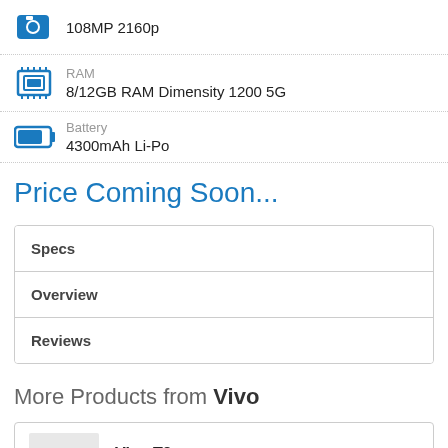108MP 2160p
RAM: 8/12GB RAM Dimensity 1200 5G
Battery: 4300mAh Li-Po
Price Coming Soon...
Specs
Overview
Reviews
More Products from Vivo
Vivo T2x
0 Reviews
View specs →